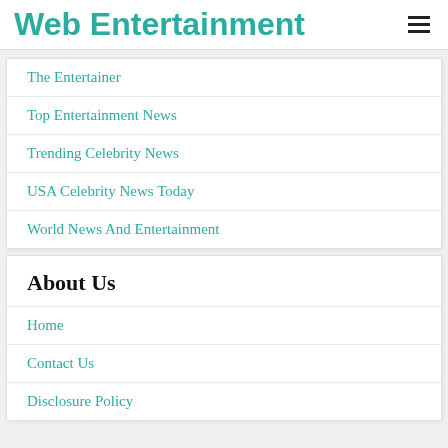Web Entertainment
The Entertainer
Top Entertainment News
Trending Celebrity News
USA Celebrity News Today
World News And Entertainment
About Us
Home
Contact Us
Disclosure Policy